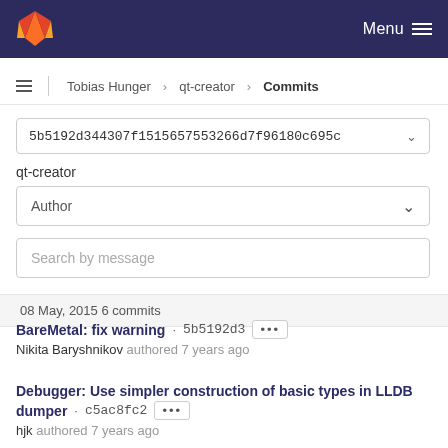GitLab header with Menu
Tobias Hunger > qt-creator > Commits
5b5192d344307f1515657553266d7f96180c695c
qt-creator
Author
Search by message
08 May, 2015 6 commits
BareMetal: fix warning · 5b5192d3 ··· Nikita Baryshnikov authored 7 years ago
Debugger: Use simpler construction of basic types in LLDB dumper · c5ac8fc2 ··· hjk authored 7 years ago